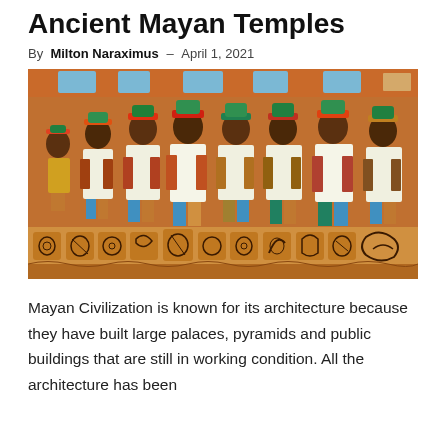Ancient Mayan Temples
By Milton Naraximus – April 1, 2021
[Figure (illustration): A colorful illustration of ancient Mayan figures in ceremonial dress, depicted in a mural style with hieroglyphic carvings along the bottom border. The background is orange-brown, and the figures wear elaborate headdresses and white robes with colorful decorations.]
Mayan Civilization is known for its architecture because they have built large palaces, pyramids and public buildings that are still in working condition. All the architecture has been